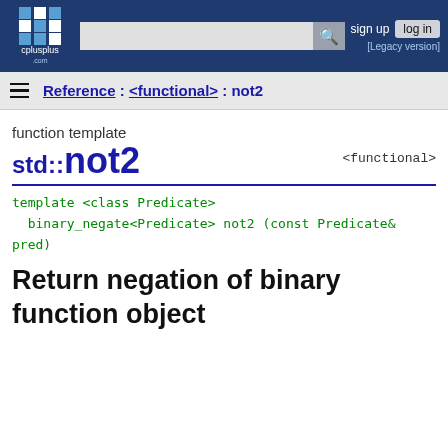cplusplus.com — sign up  log in  [Legacy version]
Reference : <functional> : not2
function template
std::not2
<functional>
Return negation of binary function object